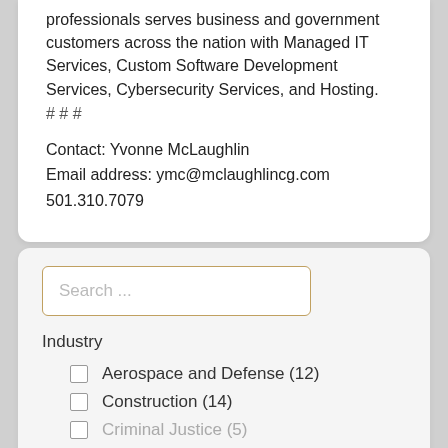professionals serves business and government customers across the nation with Managed IT Services, Custom Software Development Services, Cybersecurity Services, and Hosting.
# # #
Contact: Yvonne McLaughlin
Email address: ymc@mclaughlincg.com
501.310.7079
Search ...
Industry
Aerospace and Defense (12)
Construction (14)
Criminal Justice (5)